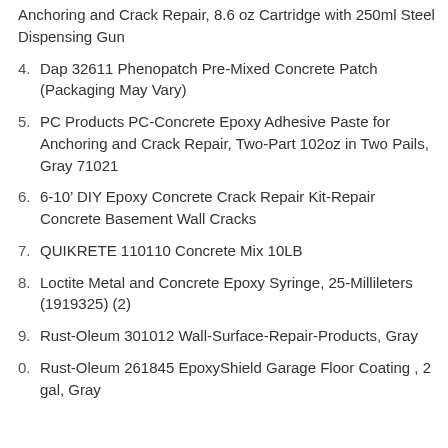Anchoring and Crack Repair, 8.6 oz Cartridge with 250ml Steel Dispensing Gun
4. Dap 32611 Phenopatch Pre-Mixed Concrete Patch (Packaging May Vary)
5. PC Products PC-Concrete Epoxy Adhesive Paste for Anchoring and Crack Repair, Two-Part 102oz in Two Pails, Gray 71021
6. 6-10’ DIY Epoxy Concrete Crack Repair Kit-Repair Concrete Basement Wall Cracks
7. QUIKRETE 110110 Concrete Mix 10LB
8. Loctite Metal and Concrete Epoxy Syringe, 25-Millileters (1919325) (2)
9. Rust-Oleum 301012 Wall-Surface-Repair-Products, Gray
0. Rust-Oleum 261845 EpoxyShield Garage Floor Coating , 2 gal, Gray